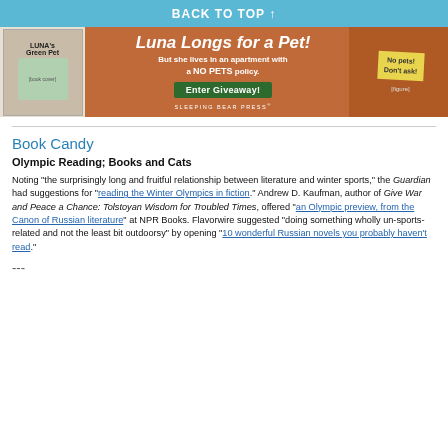BACK TO TOP ↑
[Figure (illustration): Banner advertisement for a children's book 'Luna Longs for a Pet' by Sleeping Bear Press, featuring a book cover on left with a girl and green pet, center text 'Luna Longs for a Pet! But she lives in an apartment with a NO PETS policy. Enter Giveaway!', and a yellow 'No pets! Don't ask!' tag on right with a cartoon girl.]
Book Candy
Olympic Reading; Books and Cats
Noting "the surprisingly long and fruitful relationship between literature and winter sports," the Guardian had suggestions for "reading the Winter Olympics in fiction." Andrew D. Kaufman, author of Give War and Peace a Chance: Tolstoyan Wisdom for Troubled Times, offered "an Olympic preview, from the Canon of Russian literature" at NPR Books. Flavorwire suggested "doing something wholly un-sports-related and not the least bit outdoorsy" by opening "10 wonderful Russian novels you probably haven't read."